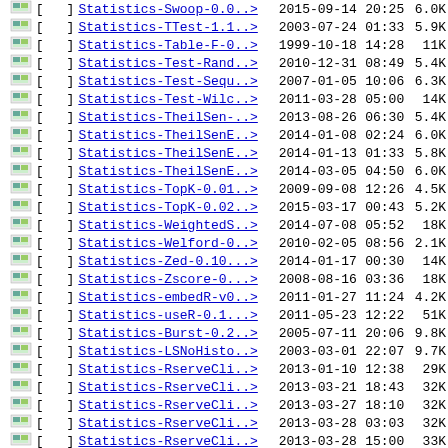| icon |  | name | date | time | size |
| --- | --- | --- | --- | --- | --- |
| [icon] | [ | Statistics-Swoop-0.0..> | 2015-09-14 | 20:25 | 6.0K |
| [icon] | [ | Statistics-TTest-1.1..> | 2003-07-24 | 01:33 | 5.9K |
| [icon] | [ | Statistics-Table-F-0..> | 1999-10-18 | 14:28 | 11K |
| [icon] | [ | Statistics-Test-Rand..> | 2010-12-31 | 08:49 | 5.4K |
| [icon] | [ | Statistics-Test-Sequ..> | 2007-01-05 | 10:06 | 6.3K |
| [icon] | [ | Statistics-Test-Wilc..> | 2011-03-28 | 05:00 | 14K |
| [icon] | [ | Statistics-TheilSen-..> | 2013-08-26 | 06:30 | 5.4K |
| [icon] | [ | Statistics-TheilSenE..> | 2014-01-08 | 02:24 | 6.0K |
| [icon] | [ | Statistics-TheilSenE..> | 2014-01-13 | 01:33 | 5.8K |
| [icon] | [ | Statistics-TheilSenE..> | 2014-03-05 | 04:50 | 6.0K |
| [icon] | [ | Statistics-TopK-0.01..> | 2009-09-08 | 12:26 | 4.5K |
| [icon] | [ | Statistics-TopK-0.02..> | 2015-03-17 | 00:43 | 5.2K |
| [icon] | [ | Statistics-WeightedS..> | 2014-07-08 | 05:52 | 18K |
| [icon] | [ | Statistics-Welford-0..> | 2010-02-05 | 08:56 | 2.1K |
| [icon] | [ | Statistics-Zed-0.10...> | 2014-01-17 | 00:30 | 14K |
| [icon] | [ | Statistics-Zscore-0...> | 2008-08-16 | 03:36 | 18K |
| [icon] | [ | Statistics-embedR-v0..> | 2011-01-27 | 11:24 | 4.2K |
| [icon] | [ | Statistics-useR-0.1...> | 2011-05-23 | 12:22 | 51K |
| [icon] | [ | Statistics-Burst-0.2..> | 2005-07-11 | 20:06 | 9.8K |
| [icon] | [ | Statistics-LSNoHisto..> | 2003-03-01 | 22:07 | 9.7K |
| [icon] | [ | Statistics-RserveCli..> | 2013-01-10 | 12:38 | 29K |
| [icon] | [ | Statistics-RserveCli..> | 2013-03-21 | 18:43 | 32K |
| [icon] | [ | Statistics-RserveCli..> | 2013-03-27 | 18:10 | 32K |
| [icon] | [ | Statistics-RserveCli..> | 2013-03-28 | 03:03 | 32K |
| [icon] | [ | Statistics-RserveCli..> | 2013-03-28 | 15:00 | 33K |
| [icon] | [ | Statistics-RserveCli..> | 2013-06-28 | 16:44 | 32K |
| [icon] | [ | Statistics-RserveCli..> | 2014-01-15 | 02:49 | 32K |